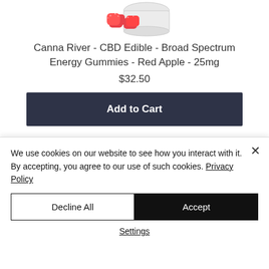[Figure (photo): Red gummy candies in a glass jar, product photo cropped at top]
Canna River - CBD Edible - Broad Spectrum Energy Gummies - Red Apple - 25mg
$32.50
Add to Cart
[Figure (photo): Partial bottom view of a white screw-top jar lid]
We use cookies on our website to see how you interact with it. By accepting, you agree to our use of such cookies. Privacy Policy
Decline All
Accept
Settings